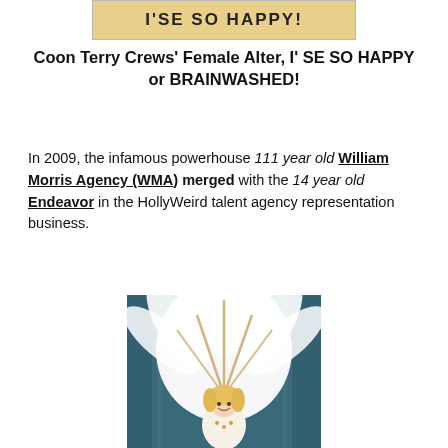[Figure (photo): Top banner image showing text 'I'SE SO HAPPY!' on a yellowish background]
Coon Terry Crews' Female Alter, I' SE SO HAPPY or BRAINWASHED!
In 2009, the infamous powerhouse 111 year old William Morris Agency (WMA) merged with the 14 year old Endeavor in the HollyWeird talent agency representation business.
[Figure (photo): Photo of a young blonde girl in a large white feathered costume/headdress against a dark teal curtain background]